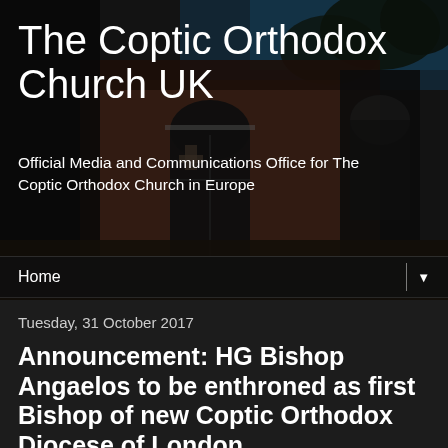[Figure (photo): Background photo of a Coptic Orthodox Church building with brick facade and arched entrance, dark/nighttime atmosphere with trees visible]
The Coptic Orthodox Church UK
Official Media and Communications Office for The Coptic Orthodox Church in Europe
Home ▼
Tuesday, 31 October 2017
Announcement: HG Bishop Angaelos to be enthroned as first Bishop of new Coptic Orthodox Diocese of London
Coptic Orthodox Church UK